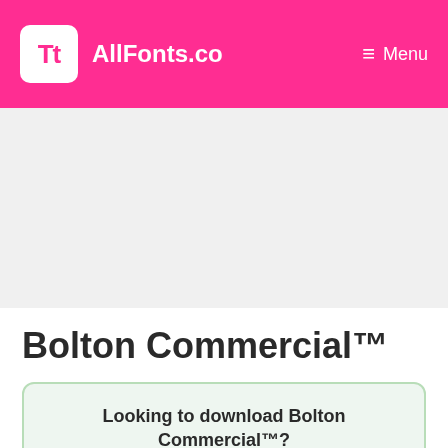AllFonts.co   Menu
[Figure (other): Advertisement / blank space area]
Bolton Commercial™
Looking to download Bolton Commercial™?
Click to download from MyFonts →